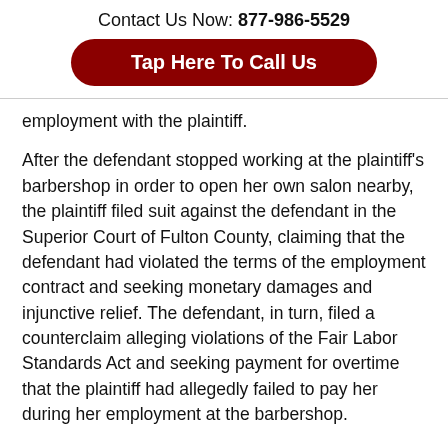Contact Us Now: 877-986-5529
Tap Here To Call Us
employment with the plaintiff.
After the defendant stopped working at the plaintiff’s barbershop in order to open her own salon nearby, the plaintiff filed suit against the defendant in the Superior Court of Fulton County, claiming that the defendant had violated the terms of the employment contract and seeking monetary damages and injunctive relief. The defendant, in turn, filed a counterclaim alleging violations of the Fair Labor Standards Act and seeking payment for overtime that the plaintiff had allegedly failed to pay her during her employment at the barbershop.